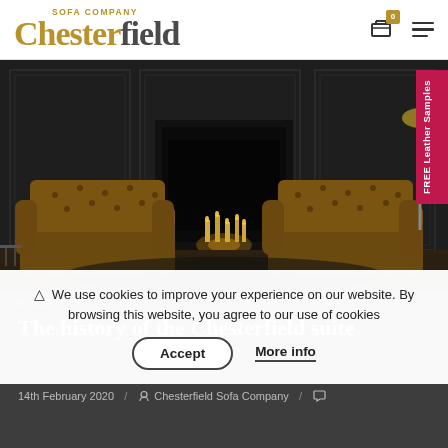Chesterfield Sofa Company
[Figure (photo): Two brown leather Chesterfield armchairs in a dark elegant room with fireplace with candles and dark panelled walls]
FREE Leather Samples
We use cookies to improve your experience on our website. By browsing this website, you agree to our use of cookies
Accept | More info
The history of the Chesterfield suite
14th February 2020 / Chesterfield Sofa Company /